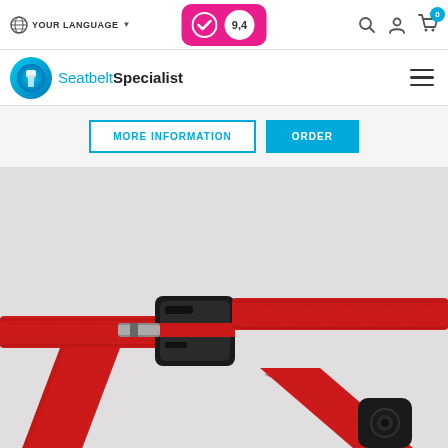YOUR LANGUAGE | Rating 9.4 | Search | Account | Cart (0)
[Figure (logo): SeatbeltSpecialist logo — circular blue icon with seatbelt graphic, text 'SeatbeltSpecialist' in blue and dark]
MORE INFORMATION | ORDER
[Figure (photo): Product photo of a red seatbelt with black buckle and metal clasp, laid flat on a white surface. The red webbing extends to both sides of the buckle assembly.]